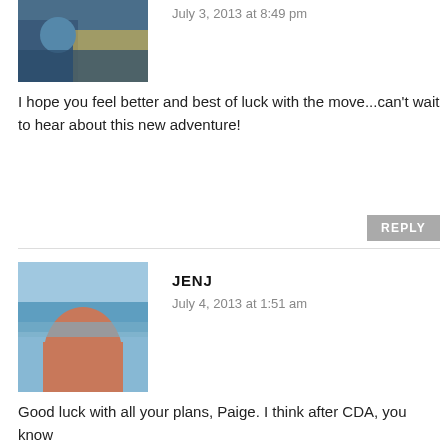July 3, 2013 at 8:49 pm
I hope you feel better and best of luck with the move...can't wait to hear about this new adventure!
REPLY
JENJ
July 4, 2013 at 1:51 am
Good luck with all your plans, Paige. I think after CDA, you know you can take on anything. Also, that video got me all chocked up. Maybe one day. A gal can dream, right?! ☺
REPLY
ERIN
July 6, 2013 at 6:53 am
That video makes me incredibly nervous, but also crazy excited for IM Canada! Gah!